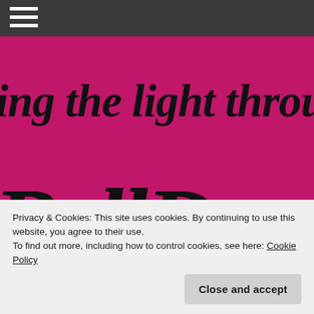[Figure (screenshot): Dark grey navigation bar with white hamburger menu icon (three horizontal lines) on the left.]
[Figure (illustration): Magenta/pink hero banner with large black cursive/script text reading 'ing the light through AG' on the first line and large decorative script letters on the second line, partially cropped.]
Privacy & Cookies: This site uses cookies. By continuing to use this website, you agree to their use.
To find out more, including how to control cookies, see here: Cookie Policy
Close and accept